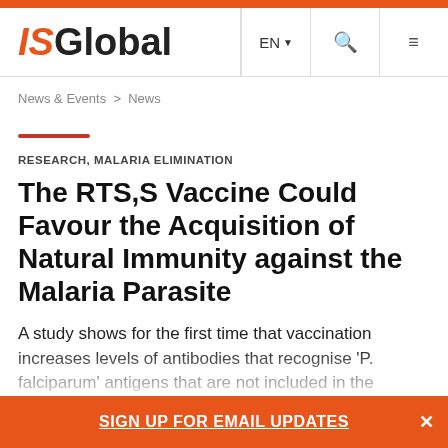[Figure (logo): ISGlobal logo with orange IS and black Global text]
EN  Q  ≡
News & Events > News
RESEARCH, MALARIA ELIMINATION
The RTS,S Vaccine Could Favour the Acquisition of Natural Immunity against the Malaria Parasite
A study shows for the first time that vaccination increases levels of antibodies that recognise 'P. falciparum' antigens that are not included in the vaccine
SIGN UP FOR EMAIL UPDATES